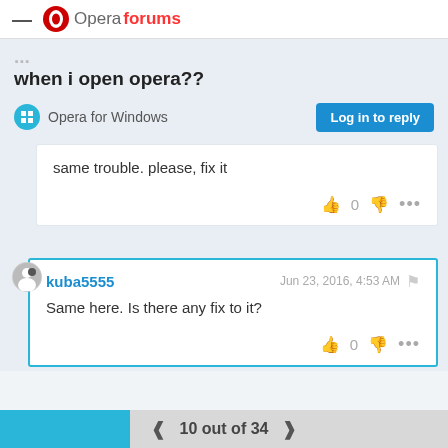Opera forums
when i open opera??
Opera for Windows
same trouble. please, fix it
kuba5555   Jun 23, 2016, 4:53 AM
Same here. Is there any fix to it?
10 out of 34